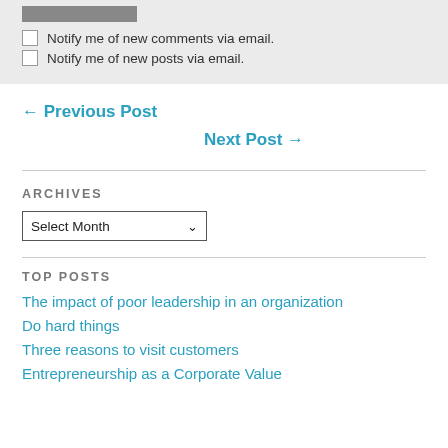Notify me of new comments via email.
Notify me of new posts via email.
← Previous Post
Next Post →
ARCHIVES
Select Month
TOP POSTS
The impact of poor leadership in an organization
Do hard things
Three reasons to visit customers
Entrepreneurship as a Corporate Value